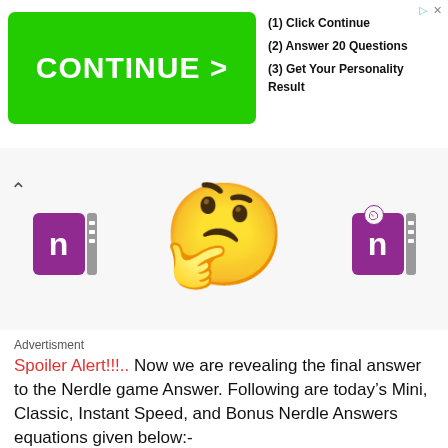[Figure (screenshot): Advertisement banner with green CONTINUE > button on left and text '(1) Click Continue (2) Answer 20 Questions (3) Get Your Personality Result' on right]
[Figure (illustration): Row of notebook app icons and a confused yellow emoji face in the center]
Advertisment
Spoiler Alert!!!.. Now we are revealing the final answer to the Nerdle game Answer. Following are today's Mini, Classic, Instant Speed, and Bonus Nerdle Answers equations given below:-
Today's Mini Nerdle equation is: 2 * 6 = 12
Today's Classic Nerdle